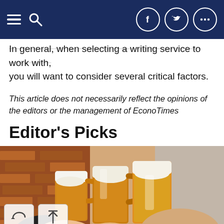Navigation bar with hamburger menu, search icon, and social media buttons (Facebook, Twitter, More)
In general, when selecting a writing service to work with, you will want to consider several critical factors.
This article does not necessarily reflect the opinions of the editors or the management of EconoTimes
Editor's Picks
[Figure (photo): People clinking beer mugs together in a toast, held over a table, with a brick wall background.]